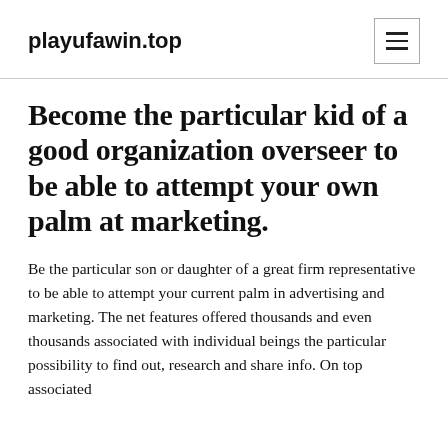playufawin.top
Become the particular kid of a good organization overseer to be able to attempt your own palm at marketing.
Be the particular son or daughter of a great firm representative to be able to attempt your current palm in advertising and marketing. The net features offered thousands and even thousands associated with individual beings the particular possibility to find out, research and share info. On top associated